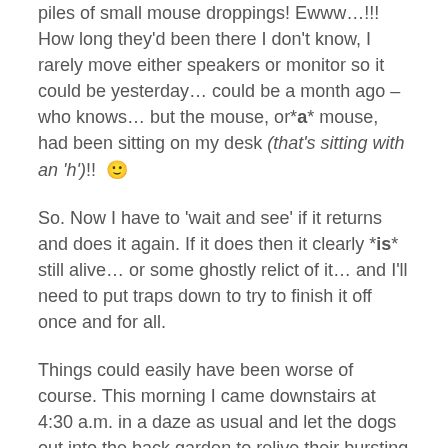piles of small mouse droppings! Ewww…!!! How long they'd been there I don't know, I rarely move either speakers or monitor so it could be yesterday… could be a month ago – who knows… but the mouse, or*a* mouse, had been sitting on my desk (that's sitting with an 'h')!!  🙂
So. Now I have to 'wait and see' if it returns and does it again. If it does then it clearly *is* still alive… or some ghostly relict of it… and I'll need to put traps down to try to finish it off once and for all.
Things could easily have been worse of course. This morning I came downstairs at 4:30 a.m. in a daze as usual and let the dogs out into the back garden to relive their bursting bladders. As they bolted out… the cat bolted in (she's part feral and never really likes being